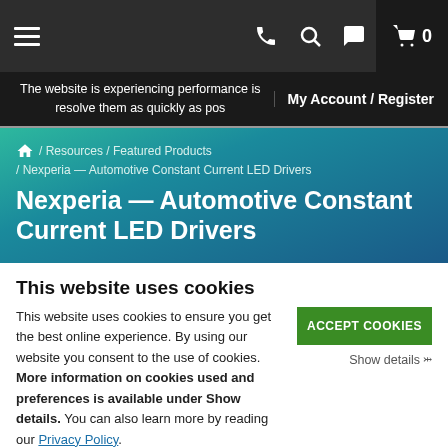Navigation bar with hamburger menu, phone icon, search icon, chat icon, and shopping cart (0 items)
The website is experiencing performance issues. We are working to resolve them as quickly as possible. My Account / Register
🏠 / Resources / Featured Products / Nexperia — Automotive Constant Current LED Drivers
Nexperia — Automotive Constant Current LED Drivers
This website uses cookies
This website uses cookies to ensure you get the best online experience. By using our website you consent to the use of cookies. More information on cookies used and preferences is available under Show details. You can also learn more by reading our Privacy Policy.